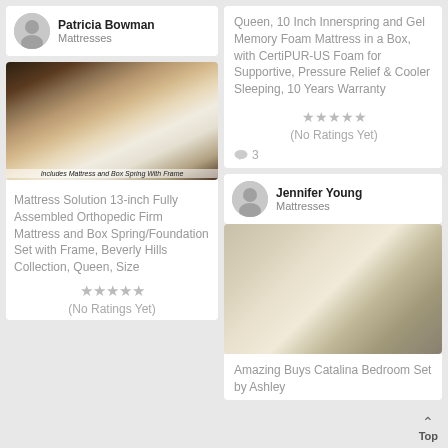Patricia Bowman
Mattresses
[Figure (photo): Photo of a bed with mattress and box spring with frame, brown pillows, dark headboard. Caption: Includes Mattress and Box Spring With Frame]
Mattress Solution 13-inch Fully Assembled Orthopedic Firm Mattress and Box Spring/Foundation Set with Frame, Beverly Hills Collection, Queen, Size
(No Ratings Yet)
Queen, 10 Inch Innerspring and Gel Memory Foam Mattress in a Box, with CertiPUR-US Foam for Supportive, Pressure Relief & Cooler Sleeping, 10 Years Warranty
(No Ratings Yet)
3
Jennifer Young
Mattresses
[Figure (photo): Photo of an elegant bedroom set with ornate white/silver furniture, bed with floral bedding, dresser with mirror]
Amazing Buys Catalina Bedroom Set by Ashley